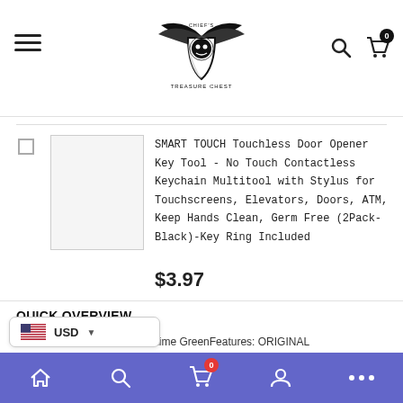Chief's Treasure Chest - navigation header with hamburger menu, logo, search and cart icons
SMART TOUCH Touchless Door Opener Key Tool - No Touch Contactless Keychain Multitool with Stylus for Touchscreens, Elevators, Doors, ATM, Keep Hands Clean, Germ Free (2Pack-Black)-Key Ring Included
$3.97
QUICK OVERVIEW
Brand: Kitchen GizmoColor: Lime GreenFeatures: ORIGINAL MANUFACTURERS: This is the original Snap n' Strain designed and manufactured by Kitchen Gizmo! UNIVERSAL DESIGN: The specially ill fit nearly all round pots, pans, and big and small
USD currency selector and bottom navigation bar with home, search, cart, account, and more icons